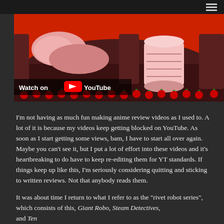[Figure (screenshot): Anime-style video thumbnail showing colorful cartoon scene with red and pink tones, featuring a pink cylindrical object and strawberry decorations. A 'Watch on YouTube' overlay bar is at the bottom left.]
I'm not having as much fun making anime review videos as I used to. A lot of it is because my videos keep getting blocked on YouTube. As soon as I start getting some views, bam, I have to start all over again. Maybe you can't see it, but I put a lot of effort into these videos and it's heartbreaking to do have to keep re-editing them for YT standards. If things keep up like this, I'm seriously considering quitting and sticking to written reviews. Not that anybody reads them.
It was about time I return to what I refer to as the "rivet robot series", which consists of this, Giant Robo, Steam Detectives, and Tenchi GXP Big O, a series of, featuring a story with